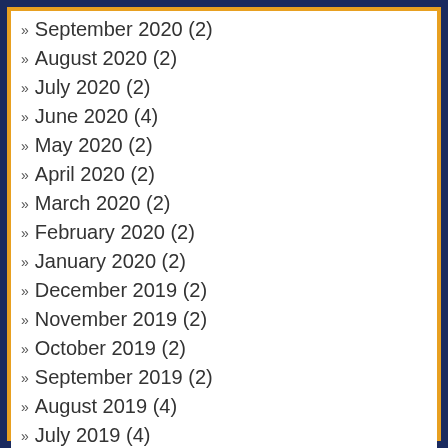September 2020 (2)
August 2020 (2)
July 2020 (2)
June 2020 (4)
May 2020 (2)
April 2020 (2)
March 2020 (2)
February 2020 (2)
January 2020 (2)
December 2019 (2)
November 2019 (2)
October 2019 (2)
September 2019 (2)
August 2019 (4)
July 2019 (4)
June 2019 (4)
May 2019 (4)
April 2019 (2)